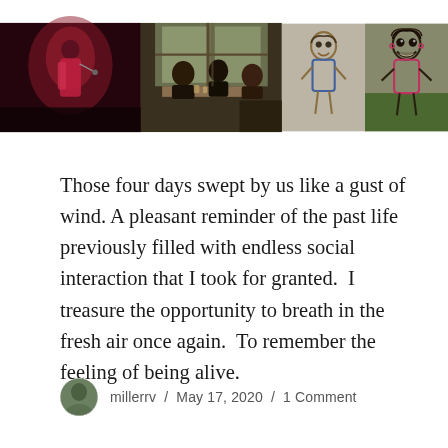[Figure (photo): A strip of four photos: (1) a performer on stage in red/pink lighting, (2) people sitting around a table dining, (3) a chalk drawing of a person in blue on pavement, (4) a chalk drawing of a smiling person on pavement/grass]
Those four days swept by us like a gust of wind. A pleasant reminder of the past life previously filled with endless social interaction that I took for granted. I treasure the opportunity to breath in the fresh air once again. To remember the feeling of being alive.
millerrv / May 17, 2020 / 1 Comment